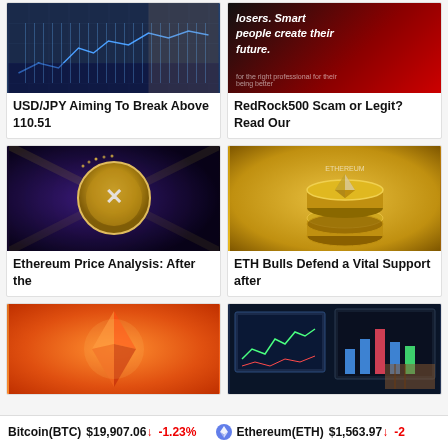[Figure (photo): USD/JPY trading chart on mobile phone screen]
USD/JPY Aiming To Break Above 110.51
[Figure (photo): RedRock500 promotional image with text: losers. Smart people create their future.]
RedRock500 Scam or Legit? Read Our
[Figure (photo): Ethereum gold coin logo on dark background with light rays]
Ethereum Price Analysis: After the
[Figure (photo): Gold Ethereum coins stacked on golden surface]
ETH Bulls Defend a Vital Support after
[Figure (photo): Red crystal Ethereum logo on orange background]
[Figure (photo): Financial market screens with charts]
Bitcoin(BTC) $19,907.06 ↓ -1.23%   Ethereum(ETH) $1,563.97 ↓ -2